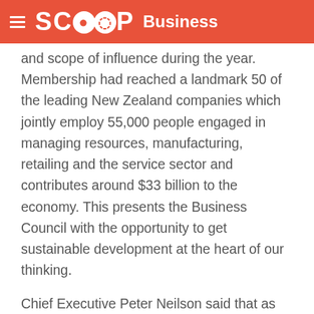SCOOP Business
and scope of influence during the year. Membership had reached a landmark 50 of the leading New Zealand companies which jointly employ 55,000 people engaged in managing resources, manufacturing, retailing and the service sector and contributes around $33 billion to the economy. This presents the Business Council with the opportunity to get sustainable development at the heart of our thinking.
Chief Executive Peter Neilson said that as an organisation which advocates sustainable development reporting, the Business Council takes seriously its own responsibility to report on what it and its members are doing to achieve this: